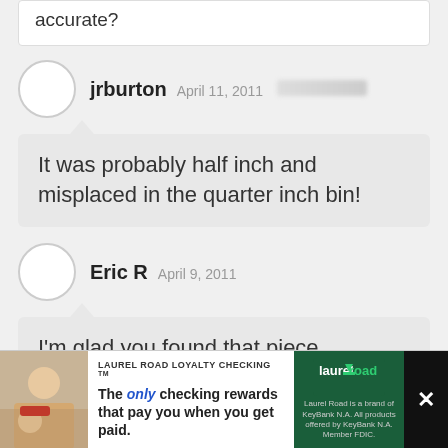accurate?
jrburton  April 11, 2011
It was probably half inch and misplaced in the quarter inch bin!
Eric R  April 9, 2011
I'm glad you found that piece, because I think I'd have had a heart attack if I'd
LAUREL ROAD LOYALTY CHECKING TM The only checking rewards that pay you when you get paid.